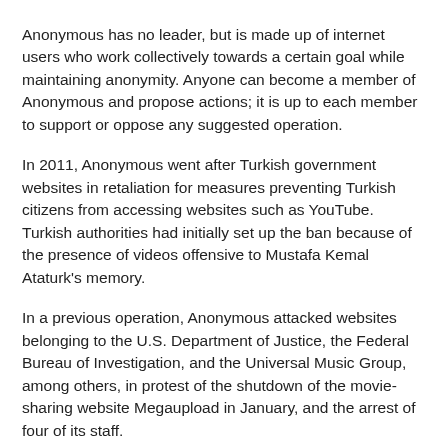Anonymous has no leader, but is made up of internet users who work collectively towards a certain goal while maintaining anonymity. Anyone can become a member of Anonymous and propose actions; it is up to each member to support or oppose any suggested operation.
In 2011, Anonymous went after Turkish government websites in retaliation for measures preventing Turkish citizens from accessing websites such as YouTube. Turkish authorities had initially set up the ban because of the presence of videos offensive to Mustafa Kemal Ataturk's memory.
In a previous operation, Anonymous attacked websites belonging to the U.S. Department of Justice, the Federal Bureau of Investigation, and the Universal Music Group, among others, in protest of the shutdown of the movie-sharing website Megaupload in January, and the arrest of four of its staff.
During the Arab Spring uprisings, Anonymous targeted Tunisian, Egyptian, and Libyan government websites in